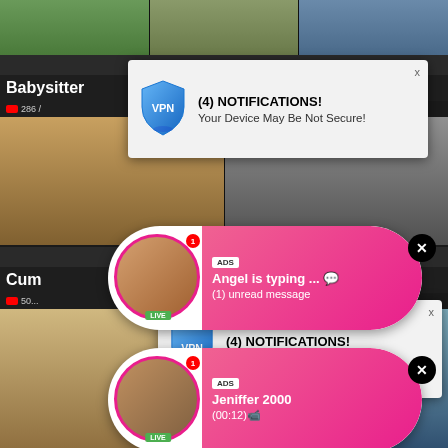[Figure (screenshot): Adult video website background with thumbnail images, category labels (Babysitter, Schoolgirl, Cum, Older), YouTube video counts, and website URL HOTAJP.COM]
[Figure (screenshot): VPN notification popup 1: '(4) NOTIFICATIONS! Your Device May Be Not Secure!' with blue shield VPN logo]
[Figure (screenshot): VPN notification popup 2: '(4) NOTIFICATIONS! Your Device May Be Not Secure!' with blue shield VPN logo]
[Figure (screenshot): Live chat ad popup 1: ADS badge, 'Angel is typing ... 💬', '(1) unread message', pink gradient bubble with live avatar, LIVE badge, notification dot showing 1]
[Figure (screenshot): Live chat ad popup 2: ADS badge, 'Jeniffer 2000', '(00:12)📹', pink gradient bubble with live avatar, LIVE badge, notification dot showing 1]